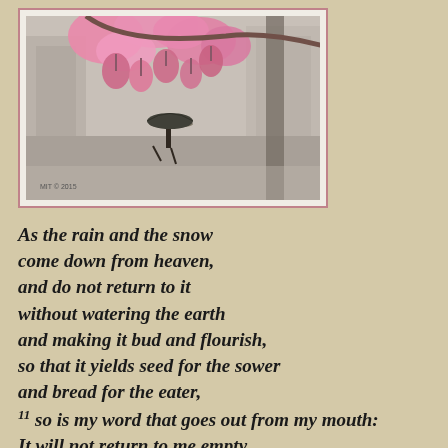[Figure (photo): Photograph of pink cherry blossoms hanging in the foreground over a rainy urban street scene with a person walking under an umbrella. Black and white background with colorized pink flowers. Watermark/credit text visible at bottom left.]
As the rain and the snow come down from heaven, and do not return to it without watering the earth and making it bud and flourish, so that it yields seed for the sower and bread for the eater, 11 so is my word that goes out from my mouth: It will not return to me empty, but will accomplish what I desire and achieve the purpose for which I sent it. 12 You will go out in joy and be led forth in peace;